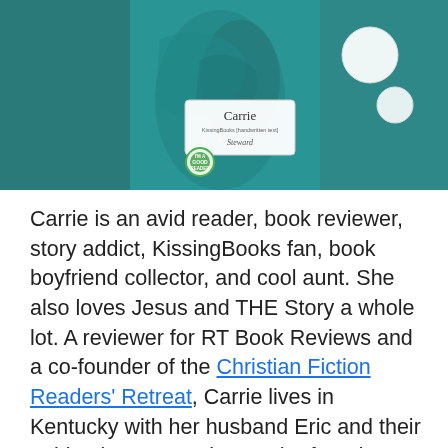[Figure (photo): A woman wearing a teal cardigan over a teal patterned blouse, with a name badge reading 'Carrie' and a 'I'm a Good Reader' button/sticker, plus two round buttons on the other side. She is wearing gold necklaces. The photo is cropped to her torso and lower face area.]
Carrie  is an avid reader, book reviewer, story addict, KissingBooks fan, book boyfriend collector, and cool aunt. She also loves Jesus and THE Story a whole lot. A reviewer for RT Book Reviews and a co-founder of the Christian Fiction Readers' Retreat, Carrie lives in Kentucky with her husband Eric and their quirky dog Zuzu. She can be found lurking at various blogs and websites (because she can't stop talking about books) but her main home is the